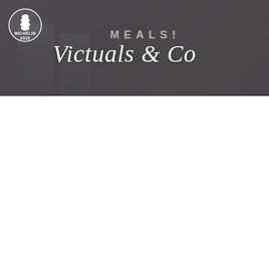[Figure (photo): Website header banner for 'Victuals & Co' restaurant, featuring a dark semi-transparent navigation bar overlaid on a sepia-toned photo of drinks/glasses on a bar. The header includes a circular Michelin 2019 logo badge on the left, centered text showing 'MEALS!' above the italic script logo 'Victuals & Co', and a hamburger menu icon on the right. The lower portion of the page is white/blank.]